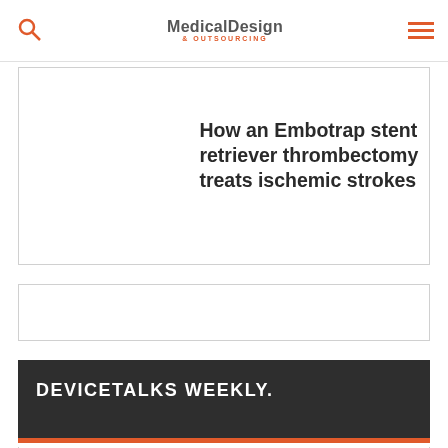Medical Design & Outsourcing
How an Embotrap stent retriever thrombectomy treats ischemic strokes
DEVICETALKS WEEKLY.